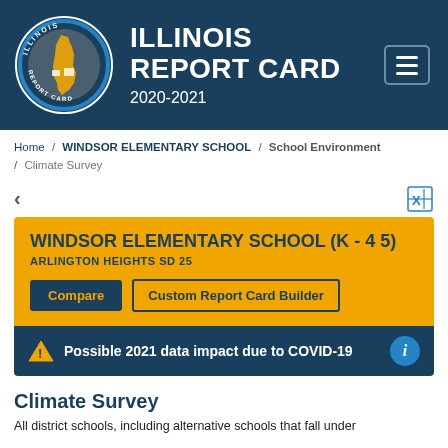ILLINOIS REPORT CARD 2020-2021
Home / WINDSOR ELEMENTARY SCHOOL / School Environment / Climate Survey
WINDSOR ELEMENTARY SCHOOL (K - 4 5)
ARLINGTON HEIGHTS SD 25
Compare | Custom Report Card Builder
Possible 2021 data impact due to COVID-19
Climate Survey
All district schools, including alternative schools that fall under